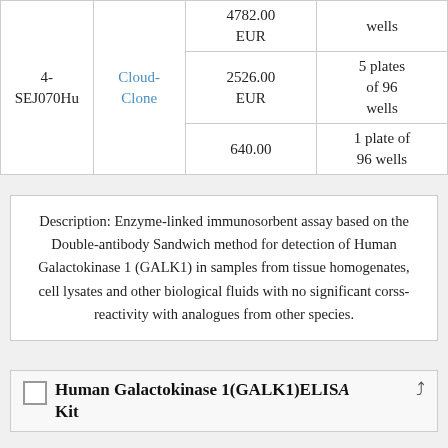| ID | Brand | Price | Quantity |
| --- | --- | --- | --- |
| 4-SEJ070Hu | Cloud-Clone | 4782.00 EUR
2526.00 EUR
640.00 | wells
5 plates of 96 wells
1 plate of 96 wells |
Description: Enzyme-linked immunosorbent assay based on the Double-antibody Sandwich method for detection of Human Galactokinase 1 (GALK1) in samples from tissue homogenates, cell lysates and other biological fluids with no significant corss-reactivity with analogues from other species.
Human Galactokinase 1(GALK1)ELISA Kit